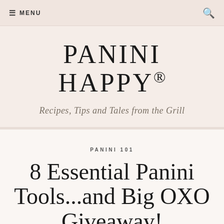≡ MENU
PANINI HAPPY®
Recipes, Tips and Tales from the Grill
PANINI 101
8 Essential Panini Tools...and Big OXO Giveaway!